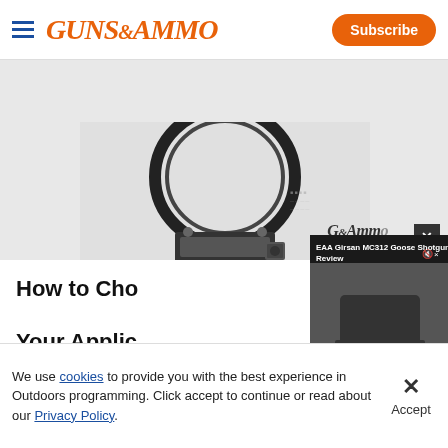GUNS&AMMO — Subscribe
[Figure (photo): Scope mount ring product photo on light gray background with Guns&Ammo watermark]
[Figure (screenshot): EAA Girsan MC312 Goose Shotgun Review video player overlay showing a person operating a shotgun, with playback controls showing 00:00 / 02:23]
How to Choose the Right Scope Mount for Your Application
Tom Beckstrand
We use cookies to provide you with the best experience in Outdoors programming. Click accept to continue or read about our Privacy Policy.